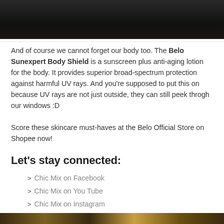[Figure (photo): Dark photo of product bottles against dark background, partially visible at top of page]
And of course we cannot forget our body too. The Belo Sunexpert Body Shield is a sunscreen plus anti-aging lotion for the body. It provides superior broad-spectrum protection against harmful UV rays. And you're supposed to put this on because UV rays are not just outside, they can still peek throgh our windows :D

Score these skincare must-haves at the Belo Official Store on Shopee now!
Let's stay connected:
Chic Mix on Facebook
Chic Mix on You Tube
Chic Mix on Instagram
PicNixPH on Instagram for Food Inspiration
[Figure (photo): Collage of food/lifestyle images, partially visible at bottom of page]